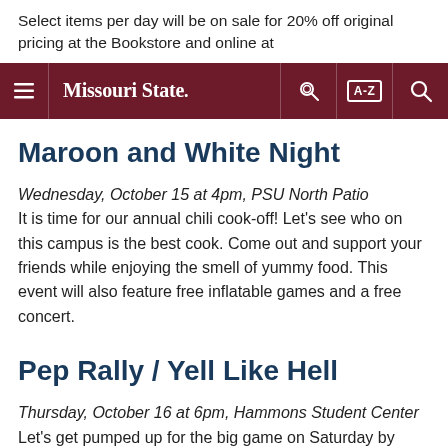Select items per day will be on sale for 20% off original pricing at the Bookstore and online at
Missouri State. [navigation bar with hamburger menu, key icon, A-Z index, and search icon]
Maroon and White Night
Wednesday, October 15 at 4pm, PSU North Patio
It is time for our annual chili cook-off! Let’s see who on this campus is the best cook. Come out and support your friends while enjoying the smell of yummy food. This event will also feature free inflatable games and a free concert.
Pep Rally / Yell Like Hell
Thursday, October 16 at 6pm, Hammons Student Center
Let’s get pumped up for the big game on Saturday by